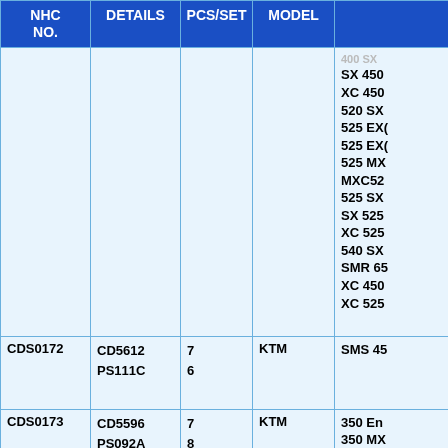| NHC NO. | DETAILS | PCS/SET | MODEL |  |
| --- | --- | --- | --- | --- |
|  |  |  |  | 400 SX
SX 450
XC 450
520 SX
525 EXC
525 EXC
525 MX
MXC52
525 SX
SX 525
XC 525
540 SXS
SMR 65
XC 450
XC 525 |
| CDS0172 | CD5612
PS111C | 7
6 | KTM | SMS 45 |
| CDS0173 | CD5596
PS092A | 7
8 | KTM | 350 En
350 MX
600 En
600 MX |